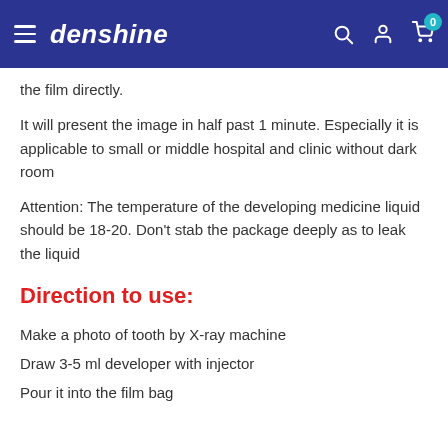denshine
the film directly.
It will present the image in half past 1 minute. Especially it is applicable to small or middle hospital and clinic without dark room
Attention: The temperature of the developing medicine liquid should be 18-20. Don’t stab the package deeply as to leak the liquid
Direction to use:
Make a photo of tooth by X-ray machine
Draw 3-5 ml developer with injector
Pour it into the film bag